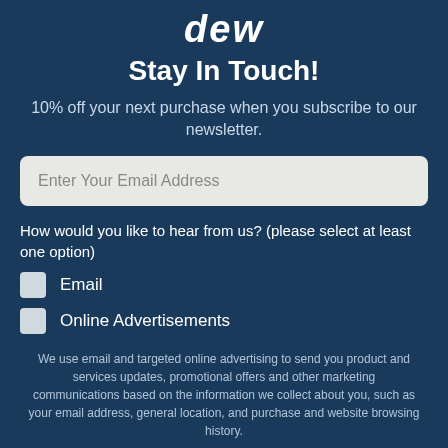[Figure (logo): dew brand logo text in white italic bold font]
Stay In Touch!
10% off your next purchase when you subscribe to our newsletter.
Enter Your Email Address
How would you like to hear from us? (please select at least one option)
Email
Online Advertisements
We use email and targeted online advertising to send you product and services updates, promotional offers and other marketing communications based on the information we collect about you, such as your email address, general location, and purchase and website browsing history.
We process your personal data as stated in our Privacy Policy.  You may withdraw your consent or manage your preferences at any time by clicking